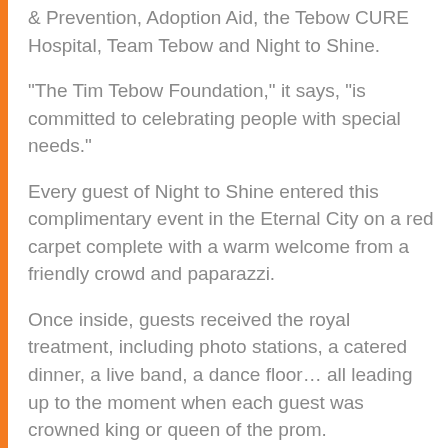& Prevention, Adoption Aid, the Tebow CURE Hospital, Team Tebow and Night to Shine.
“The Tim Tebow Foundation,” it says, “is committed to celebrating people with special needs.”
Every guest of Night to Shine entered this complimentary event in the Eternal City on a red carpet complete with a warm welcome from a friendly crowd and paparazzi.
Once inside, guests received the royal treatment, including photo stations, a catered dinner, a live band, a dance floor… all leading up to the moment when each guest was crowned king or queen of the prom.
“It is awe inspiring to see how God is using the